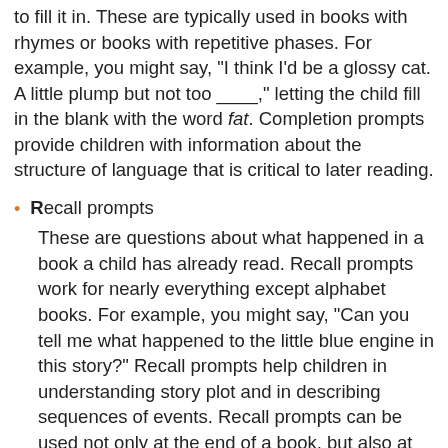to fill it in. These are typically used in books with rhymes or books with repetitive phases. For example, you might say, "I think I'd be a glossy cat. A little plump but not too ____," letting the child fill in the blank with the word fat. Completion prompts provide children with information about the structure of language that is critical to later reading.
Recall prompts
These are questions about what happened in a book a child has already read. Recall prompts work for nearly everything except alphabet books. For example, you might say, "Can you tell me what happened to the little blue engine in this story?" Recall prompts help children in understanding story plot and in describing sequences of events. Recall prompts can be used not only at the end of a book, but also at the beginning of a book when a child has been read that book before.
Open-ended prompts
These prompts focus on the pictures in books. They work best for books that have rich, detailed illustrations. For example, while looking at a page in a book that the child is